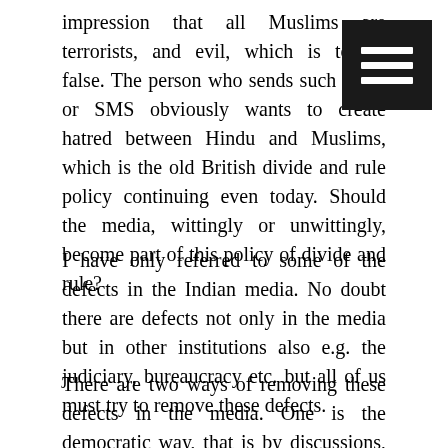impression that all Muslims are terrorists, and evil, which is totally false. The person who sends such mails or SMS obviously wants to create hatred between Hindu and Muslims, which is the old British divide and rule policy continuing even today. Should the media, wittingly or unwittingly, become part of this policy of divide and rule?
I have only referred to some of the defects in the Indian media. No doubt there are defects not only in the media but in other institutions also e.g. the judiciary, bureaucracy etc. but all of us must try to remove these defects.
There are two ways of removing these defects in the media. One is the democratic way, that is by discussions, consultations and persuasion, which is the method I prefer. The other way is by using harsh measures against the media e.g. by imposing heavy